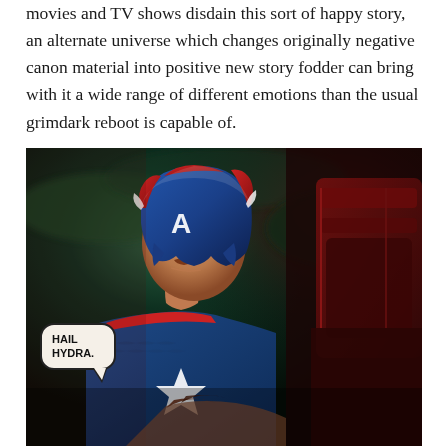movies and TV shows disdain this sort of happy story, an alternate universe which changes originally negative canon material into positive new story fodder can bring with it a wide range of different emotions than the usual grimdark reboot is capable of.
[Figure (illustration): Comic book panel showing Captain America in his blue and red costume with the 'A' on his helmet, looking serious. A speech bubble reads 'HAIL HYDRA.' The background has dark green smoky clouds. Another figure is partially visible in the lower right.]